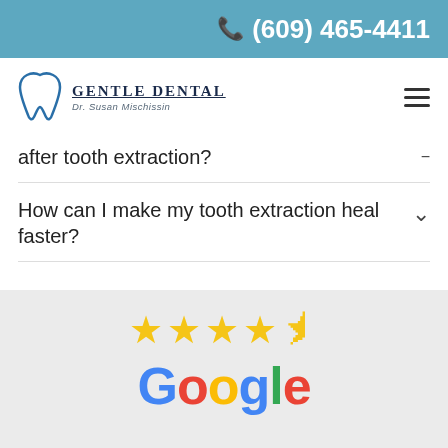(609) 465-4411
[Figure (logo): Gentle Dental logo with tooth icon, text 'GENTLE DENTAL' and 'Dr. Susan Mischissin']
after tooth extraction?
How can I make my tooth extraction heal faster?
[Figure (illustration): Google review section with 4.5 gold stars and Google logo]